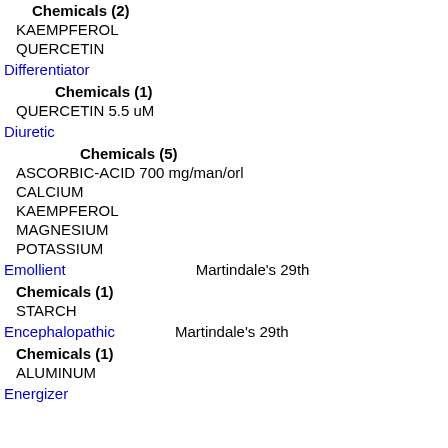Chemicals (2)
KAEMPFEROL
QUERCETIN
Differentiator
Chemicals (1)
QUERCETIN 5.5 uM
Diuretic
Chemicals (5)
ASCORBIC-ACID 700 mg/man/orl
CALCIUM
KAEMPFEROL
MAGNESIUM
POTASSIUM
Emollient    Martindale's 29th
Chemicals (1)
STARCH
Encephalopathic    Martindale's 29th
Chemicals (1)
ALUMINUM
Energizer